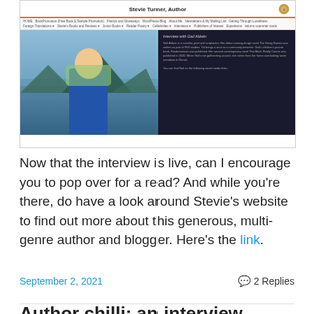[Figure (screenshot): Screenshot of Stevie Turner Author website showing header with title 'Stevie Turner, Author', navigation menu, and a split panel with a photo of a woman outdoors and dark panel with interview text about Gail Aldwin]
Now that the interview is live, can I encourage you to pop over for a read? And while you're there, do have a look around Stevie's website to find out more about this generous, multi-genre author and blogger. Here's the link.
September 2, 2021
2 Replies
Author chilli: an interview…